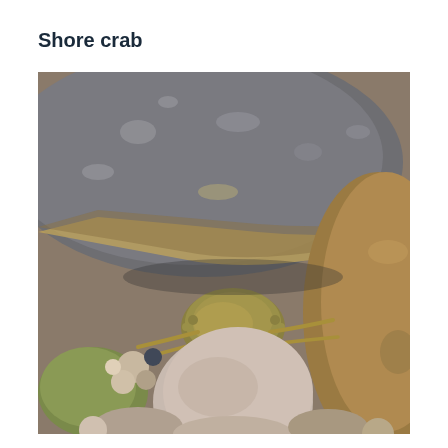Shore crab
[Figure (photo): A small shore crab nestled between rocks on a pebble beach. The crab is olive-green/brown coloured and is partially hidden under a large grey speckled rock. Several rounded pebbles of various colours surround the crab.]